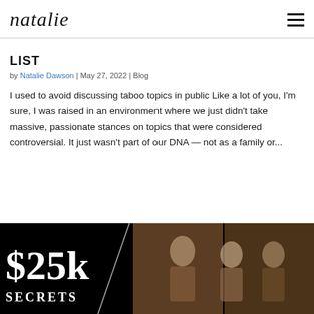natalie
LIST
by Natalie Dawson | May 27, 2022 | Blog
I used to avoid discussing taboo topics in public Like a lot of you, I'm sure, I was raised in an environment where we just didn't take massive, passionate stances on topics that were considered controversial. It just wasn't part of our DNA — not as a family or...
[Figure (photo): Dark background promotional image with large white text '$25k SECRETS' on the left side, and two photo panels on the right showing groups of women at an event]